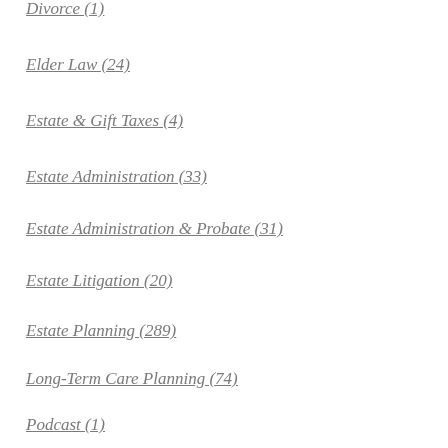Divorce (1)
Elder Law (24)
Estate & Gift Taxes (4)
Estate Administration (33)
Estate Administration & Probate (31)
Estate Litigation (20)
Estate Planning (289)
Long-Term Care Planning (74)
Podcast (1)
Probate Litigation (33)
Trustees (12)
Trustees, Executors & Fiduciaries (12)